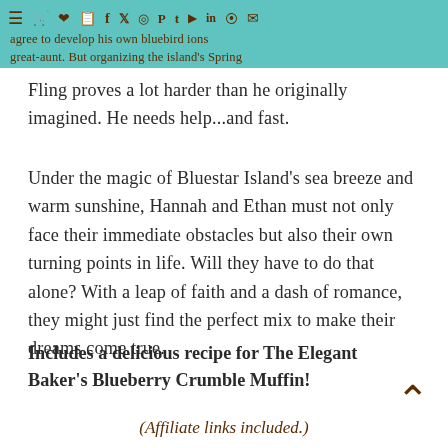agree to develop his own bluebird ions great-aunt. But organizing the island's Spring Fling proves a lot harder than he originally imagined. He needs help...and fast.
Under the magic of Bluestar Island's sea breeze and warm sunshine, Hannah and Ethan must not only face their immediate obstacles but also their own turning points in life. Will they have to do that alone? With a leap of faith and a dash of romance, they might just find the perfect mix to make their dreams come true.
Includes a delicious recipe for The Elegant Baker's Blueberry Crumble Muffin!
(Affiliate links included.)
Goodreads | BookBub | Amazon | Kobo